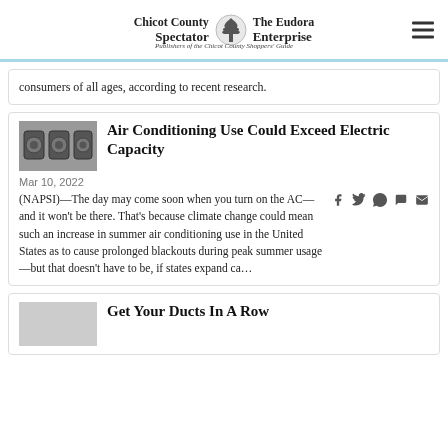Chicot County Spectator / The Eudora Enterprise — Publishers of the Chicot County Shoppers' Guide
consumers of all ages, according to recent research.
Air Conditioning Use Could Exceed Electric Capacity
Mar 10, 2022
(NAPSI)—The day may come soon when you turn on the AC—and it won't be there. That's because climate change could mean such an increase in summer air conditioning use in the United States as to cause prolonged blackouts during peak summer usage—but that doesn't have to be, if states expand ca...
Get Your Ducts In A Row